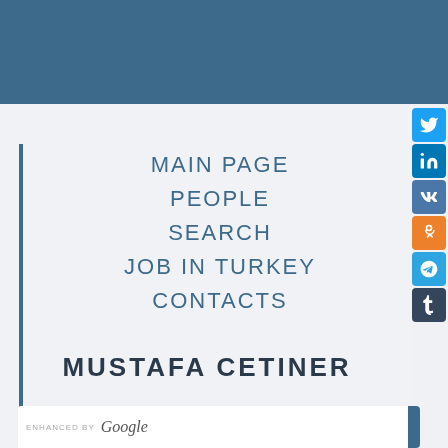MAIN PAGE
PEOPLE
SEARCH
JOB IN TURKEY
CONTACTS
MUSTAFA CETINER
ENHANCED BY Google